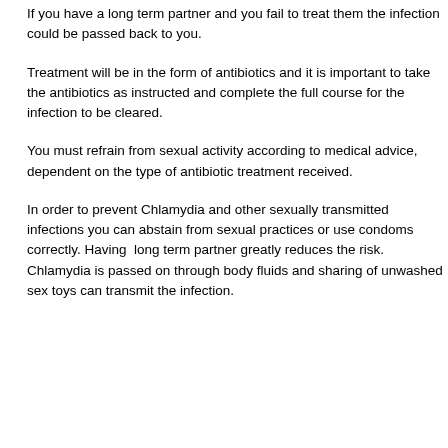If you have a long term partner and you fail to treat them the infection could be passed back to you.
Treatment will be in the form of antibiotics and it is important to take the antibiotics as instructed and complete the full course for the infection to be cleared.
You must refrain from sexual activity according to medical advice, dependent on the type of antibiotic treatment received.
In order to prevent Chlamydia and other sexually transmitted infections you can abstain from sexual practices or use condoms correctly. Having  long term partner greatly reduces the risk. Chlamydia is passed on through body fluids and sharing of unwashed sex toys can transmit the infection.